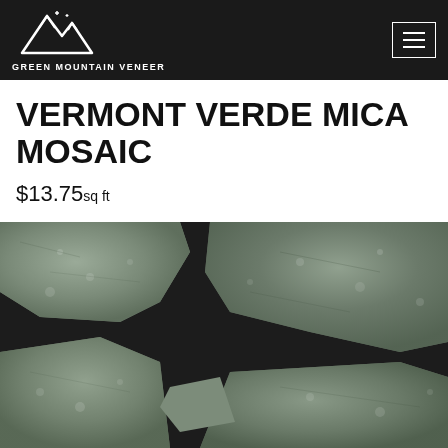Green Mountain Veneer
VERMONT VERDE MICA MOSAIC
$13.75sq ft
[Figure (photo): Close-up photograph of Vermont Verde Mica Mosaic stone veneer showing irregular green-grey stone pieces with dark mortar joints between them]